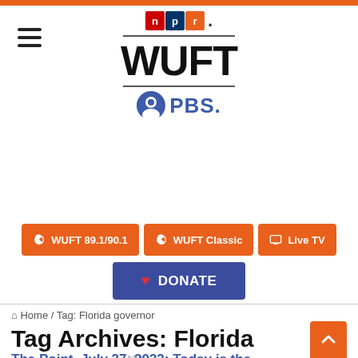[Figure (logo): NPR WUFT PBS logo with colored NPR boxes, large WUFT text, and PBS circle head icon]
≡
🎧 WUFT 89.1/90.1    🎧 WUFT Classic    🖥 Live TV
❤ DONATE
⌂ Home / Tag: Florida governor
Tag Archives: Florida governor
The Point, July 27, 2022: Today is the...